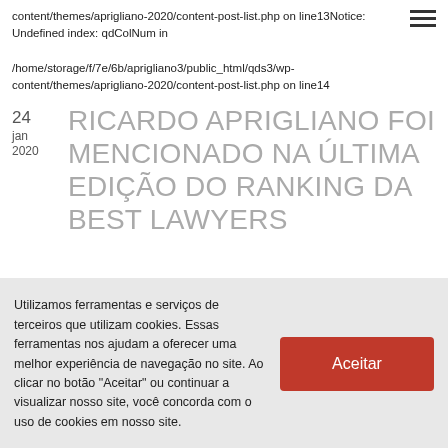content/themes/aprigliano-2020/content-post-list.php on line13Notice: Undefined index: qdColNum in

/home/storage/f/7e/6b/aprigliano3/public_html/qds3/wp-content/themes/aprigliano-2020/content-post-list.php on line14
RICARDO APRIGLIANO FOI MENCIONADO NA ÚLTIMA EDIÇÃO DO RANKING DA BEST LAWYERS
Utilizamos ferramentas e serviços de terceiros que utilizam cookies. Essas ferramentas nos ajudam a oferecer uma melhor experiência de navegação no site. Ao clicar no botão "Aceitar" ou continuar a visualizar nosso site, você concorda com o uso de cookies em nosso site.